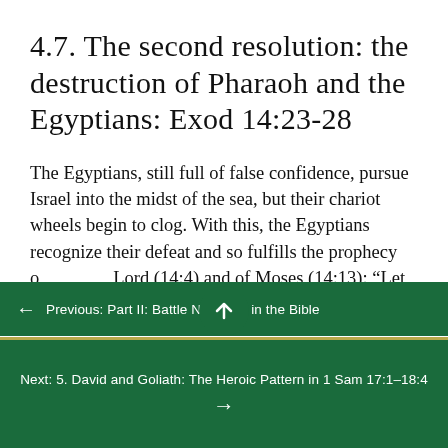4.7. The second resolution: the destruction of Pharaoh and the Egyptians: Exod 14:23-28
The Egyptians, still full of false confidence, pursue Israel into the midst of the sea, but their chariot wheels begin to clog. With this, the Egyptians recognize their defeat and so fulfills the prophecy of the Lord (14:4) and of Moses (14:13): “Let us flee from the Israelites
←  Previous: Part II: Battle Narrative in the Bible
Next: 5. David and Goliath: The Heroic Pattern in 1 Sam 17:1–18:4